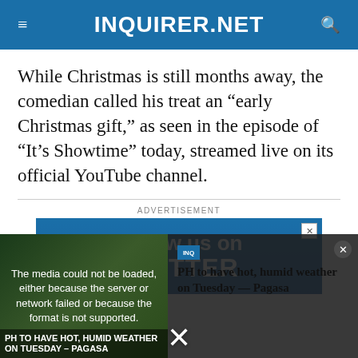INQUIRER.NET
While Christmas is still months away, the comedian called his treat an “early Christmas gift,” as seen in the episode of “It’s Showtime” today, streamed live on its official YouTube channel.
ADVERTISEMENT
[Figure (screenshot): Advertisement banner reading 'Follow us on TWITTER' with blue background and close button]
[Figure (screenshot): Video overlay with error message: 'The media could not be loaded, either because the server or network failed or because the format is not supported.' Thumbnail showing 'PH TO HAVE HOT, HUMID WEATHER ON TUESDAY – PAGASA' with article title on the right side.]